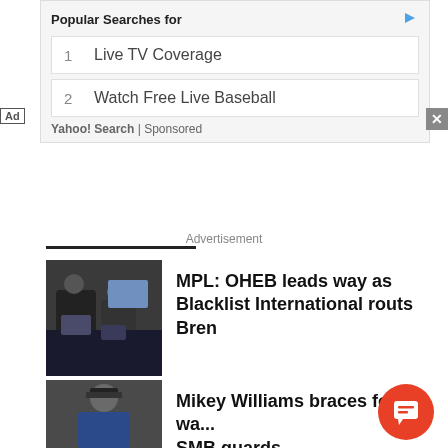[Figure (screenshot): Ad box with 'Popular Searches for' header, two search items: 1. Live TV Coverage, 2. Watch Free Live Baseball. Yahoo! Search | Sponsored footer.]
Ad
×
Advertisement
[Figure (photo): Photo of esports players at computers in a dark gaming venue.]
MPL: OHEB leads way as Blacklist International routs Bren
[Figure (photo): Photo of Mikey Williams wearing a cap and basketball jersey.]
Mikey Williams braces for wa... SMB guards
[Figure (other): Orange circular chat/comment button with speech bubble icon.]